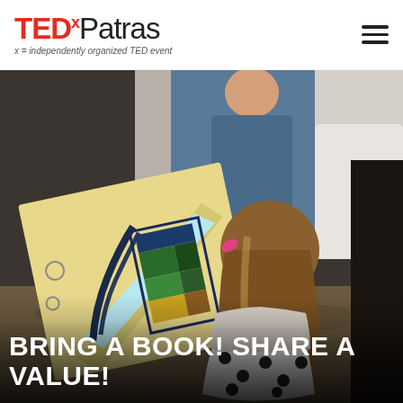[Figure (logo): TEDxPatras logo with red TED, superscript x, black Patras text, and italic subtitle 'x = independently organized TED event']
[Figure (photo): Indoor scene: a young girl with long brown hair and a pink hair clip wearing a white polka dot dress, looking at a colorful illustrated artwork (a tilted book/painting with geometric patterns in blue, green, yellow, brown) on a table. In the background, adults are standing.]
BRING A BOOK! SHARE A VALUE!